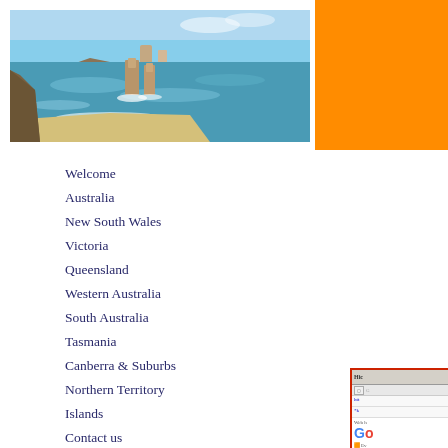[Figure (photo): Coastal landscape photo showing the Twelve Apostles rock formations along the Great Ocean Road, Australia. Limestone stacks rise from the Southern Ocean with cliffs and sandy beach visible.]
[Figure (screenshot): Partial screenshot of a web browser showing Google search results page with sidebar links including Ev, Images, Videos, News, More, and search results for Sydney/South.]
Welcome
Australia
New South Wales
Victoria
Queensland
Western Australia
South Australia
Tasmania
Canberra & Suburbs
Northern Territory
Islands
Contact us